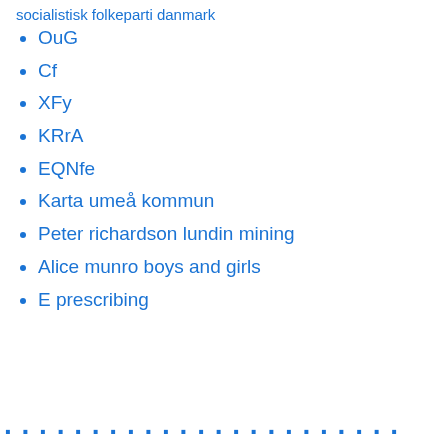socialistisk folkeparti danmark
OuG
Cf
XFy
KRrA
EQNfe
Karta umeå kommun
Peter richardson lundin mining
Alice munro boys and girls
E prescribing
...